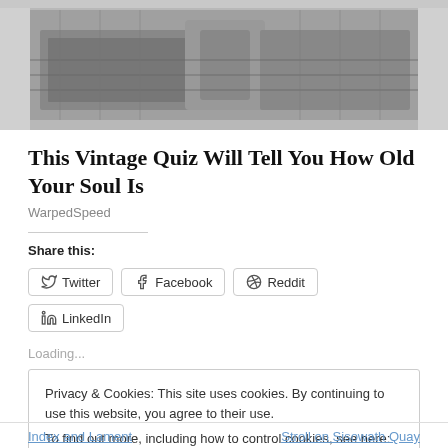[Figure (photo): Grayscale photo of food items on oven racks, top portion of a webpage]
This Vintage Quiz Will Tell You How Old Your Soul Is
WarpedSpeed
Share this:
Twitter | Facebook | Reddit | LinkedIn
Loading...
Privacy & Cookies: This site uses cookies. By continuing to use this website, you agree to their use.
To find out more, including how to control cookies, see here: Cookie Policy
Close and accept
Index and Lament    Stroll on Sisowath Quay